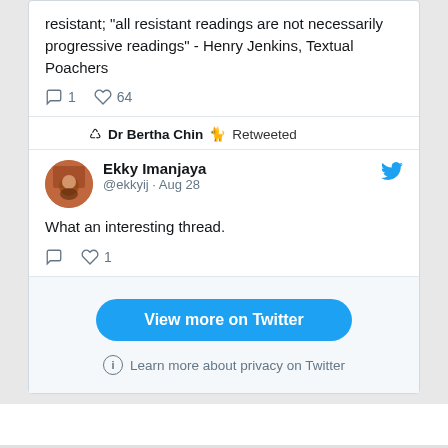resistant; "all resistant readings are not necessarily progressive readings" - Henry Jenkins, Textual Poachers
1 comment, 64 likes
Dr Bertha Chin 🐈 Retweeted
Ekky Imanjaya @ekkyij · Aug 28
What an interesting thread.
1 like
View more on Twitter
Learn more about privacy on Twitter